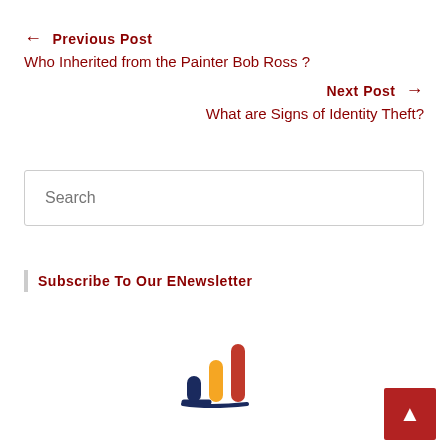← Previous Post
Who Inherited from the Painter Bob Ross ?
Next Post →
What are Signs of Identity Theft?
Search
Subscribe To Our ENewsletter
[Figure (logo): Bar chart style logo with navy blue base and three rising bars colored navy, orange, and red]
▲ back to top button